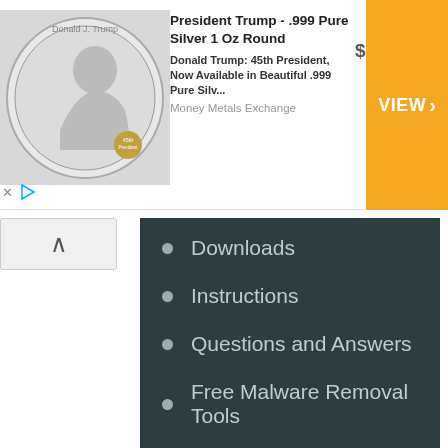[Figure (screenshot): Advertisement banner for President Trump .999 Pure Silver 1 Oz Round coin. Shows a silver coin with Trump's profile on the left, product title and description text in the middle, price $24.06, and an orange VIEW button on the right. Money Metals Exchange is listed as the seller.]
Downloads
Instructions
Questions and Answers
Free Malware Removal Tools
Copyright © 2004 - 2022 Myantispyware.com - Free antispyware programs and Spyware Removal Instructions.